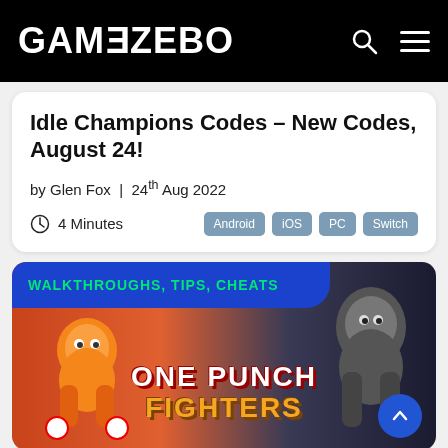GAMEZEBO
Idle Champions Codes – New Codes, August 24!
by Glen Fox  |  24th Aug 2022
4 Minutes   Android  iOS  PC  Switch
[Figure (screenshot): Gamezebo website screenshot showing article header for Idle Champions Codes with tags Android, iOS, PC, Switch and a banner for One Punch Fighters game with WALKTHROUGHS, TIPS, CHEATS label]